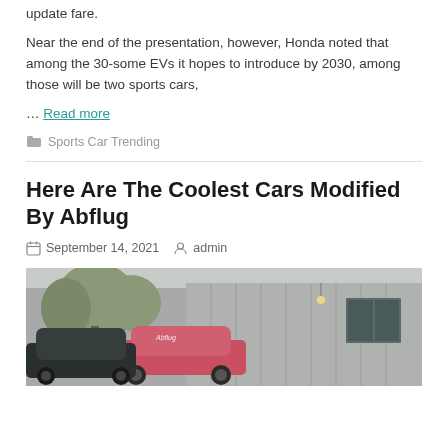update fare.
Near the end of the presentation, however, Honda noted that among the 30-some EVs it hopes to introduce by 2030, among those will be two sports cars,
… Read more
Sports Car Trending
Here Are The Coolest Cars Modified By Abflug
September 14, 2021   admin
[Figure (photo): Exterior photo of modified cars parked outside a building, with trees in the background. A pink/red and dark colored car visible, industrial metal building behind.]